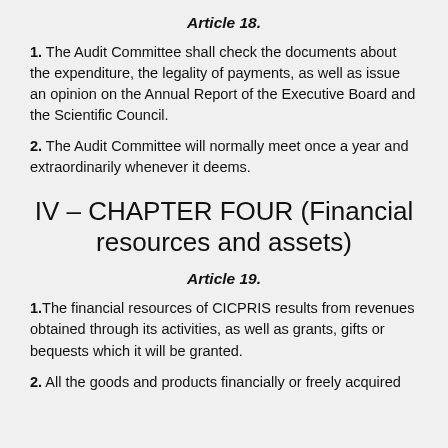Article 18.
1. The Audit Committee shall check the documents about the expenditure, the legality of payments, as well as issue an opinion on the Annual Report of the Executive Board and the Scientific Council.
2. The Audit Committee will normally meet once a year and extraordinarily whenever it deems.
IV – CHAPTER FOUR (Financial resources and assets)
Article 19.
1.The financial resources of CICPRIS results from revenues obtained through its activities, as well as grants, gifts or bequests which it will be granted.
2. All the goods and products financially or freely acquired